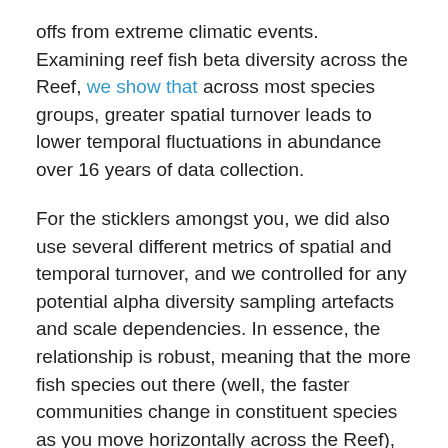offs from extreme climatic events. Examining reef fish beta diversity across the Reef, we show that across most species groups, greater spatial turnover leads to lower temporal fluctuations in abundance over 16 years of data collection.
For the sticklers amongst you, we did also use several different metrics of spatial and temporal turnover, and we controlled for any potential alpha diversity sampling artefacts and scale dependencies. In essence, the relationship is robust, meaning that the more fish species out there (well, the faster communities change in constituent species as you move horizontally across the Reef), the less likely they are to fluctuate in population size over time, meaning that there is a lower likelihood of going extinct.